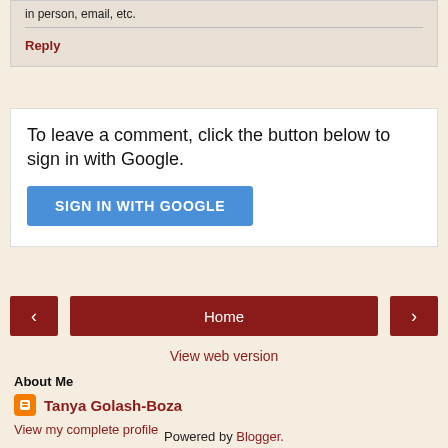in person, email, etc.
Reply
To leave a comment, click the button below to sign in with Google.
SIGN IN WITH GOOGLE
‹
Home
›
View web version
About Me
Tanya Golash-Boza
View my complete profile
Powered by Blogger.